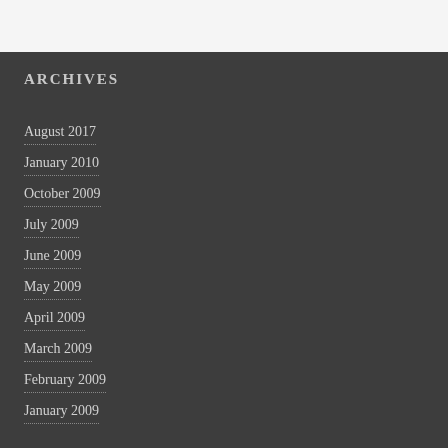ARCHIVES
August 2017
January 2010
October 2009
July 2009
June 2009
May 2009
April 2009
March 2009
February 2009
January 2009